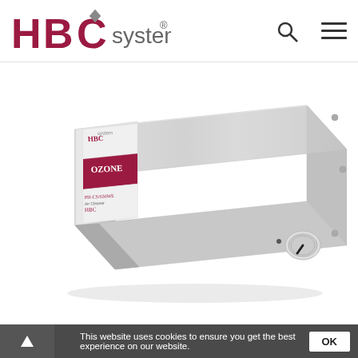[Figure (logo): HBC system logo with diamond accent mark above the C, in dark red/maroon color, followed by 'system' in grey with registered trademark symbol]
[Figure (photo): HBC system ozone or portable air cleaner device - a rectangular stainless steel box unit with a dial/knob control on the front right side, displayed at an angle. The unit has an HBC branding label/sleeve on the left side with maroon and white design.]
This website uses cookies to ensure you get the best experience on our website.
OK